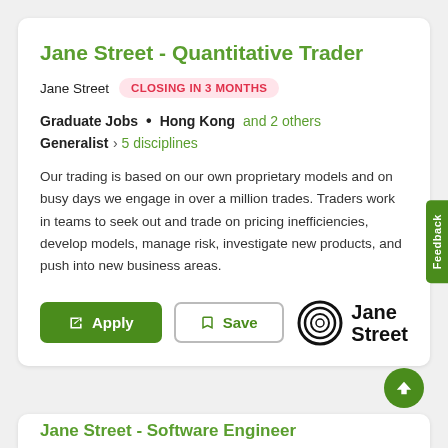Jane Street - Quantitative Trader
Jane Street  CLOSING IN 3 MONTHS
Graduate Jobs  •  Hong Kong and 2 others  Generalist › 5 disciplines
Our trading is based on our own proprietary models and on busy days we engage in over a million trades. Traders work in teams to seek out and trade on pricing inefficiencies, develop models, manage risk, investigate new products, and push into new business areas.
[Figure (logo): Jane Street logo — concentric circles icon with 'Jane Street' text]
Jane Street - Software Engineer